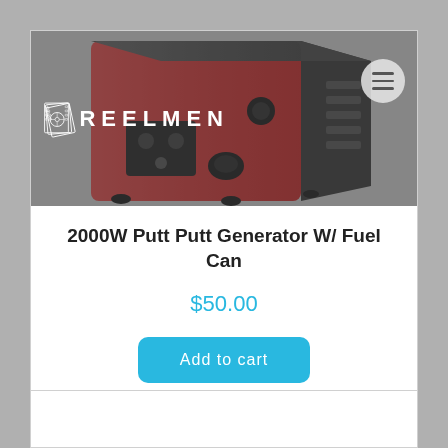REELMEN
[Figure (photo): A red and black 2000W portable inverter generator photographed from a slightly elevated angle, showing front panel with controls and outlets]
2000W Putt Putt Generator W/ Fuel Can
$50.00
Add to cart